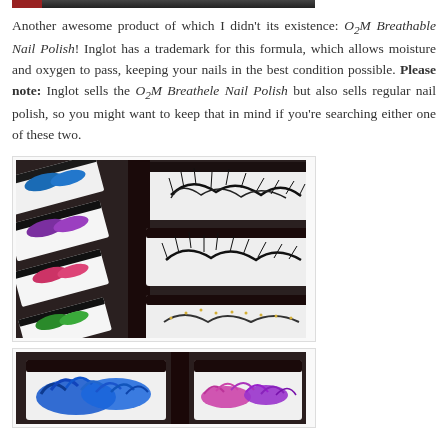[Figure (photo): Top partial image bar, dark with red accent at top of page]
Another awesome product of which I didn't its existence: O₂M Breathable Nail Polish! Inglot has a trademark for this formula, which allows moisture and oxygen to pass, keeping your nails in the best condition possible. Please note: Inglot sells the O₂M Breathele Nail Polish but also sells regular nail polish, so you might want to keep that in mind if you're searching either one of these two.
[Figure (photo): Display of multiple false eyelashes on cards arranged in a grid, some colorful (blue, purple, red, green) on the left side and natural black lashes on the right, photographed at an angle.]
[Figure (photo): Close-up partial view of false eyelash display cards showing blue feathery lashes and colorful lashes.]